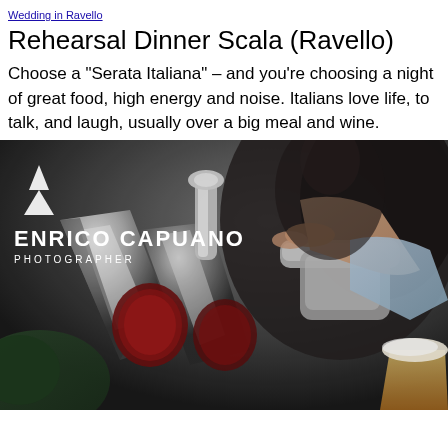Wedding in Ravello
Rehearsal Dinner Scala (Ravello)
Choose a "Serata Italiana" – and you're choosing a night of great food, high energy and noise. Italians love life, to talk, and laugh, usually over a big meal and wine.
[Figure (photo): Close-up photo of a person pouring beer from a tap handle, with chrome beer taps in the foreground and a glass of beer being filled. Enrico Capuano Photographer watermark overlaid on the image.]